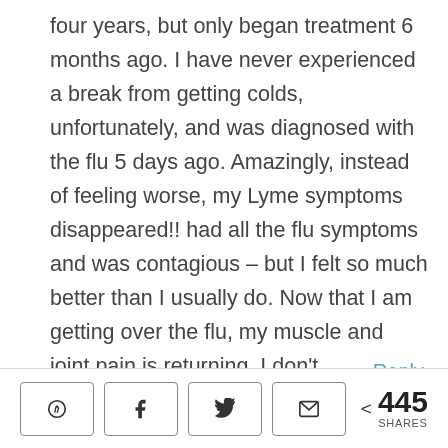four years, but only began treatment 6 months ago. I have never experienced a break from getting colds, unfortunately, and was diagnosed with the flu 5 days ago. Amazingly, instead of feeling worse, my Lyme symptoms disappeared!! had all the flu symptoms and was contagious – but I felt so much better than I usually do. Now that I am getting over the flu, my muscle and joint pain is returning. I don't understand this at all, but it gives me some hope for better days. Any thoughts?
Reply
445 SHARES